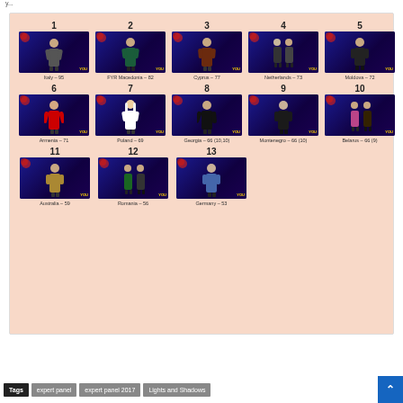[Figure (infographic): Grid of 13 Eurovision 2017 entries ranked by expert panel score. Each entry shows a numbered position, a dark blue stage photo, and a label with country name and score. Row 1: 1-Italy 95, 2-FYR Macedonia 82, 3-Cyprus 77, 4-Netherlands 73, 5-Moldova 72. Row 2: 6-Armenia 71, 7-Poland 69, 8-Georgia 66 (10,10), 9-Montenegro 66 (10), 10-Belarus 66 (9). Row 3: 11-Australia 59, 12-Romania 56, 13-Germany 53.]
Tags  expert panel  expert panel 2017  Lights and Shadows